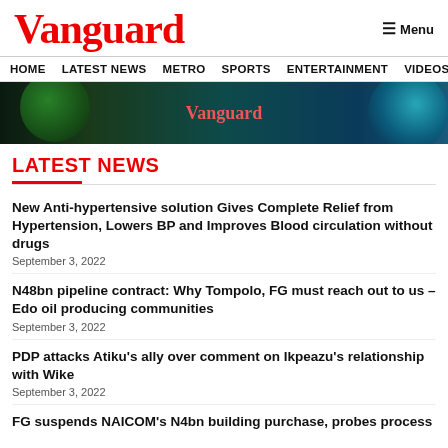Vanguard
Menu
HOME  LATEST NEWS  METRO  SPORTS  ENTERTAINMENT  VIDEOS
[Figure (illustration): Vanguard banner image with dark background, green and blue circular elements, and red Vanguard text in center]
LATEST NEWS
New Anti-hypertensive solution Gives Complete Relief from Hypertension, Lowers BP and Improves Blood circulation without drugs
September 3, 2022
N48bn pipeline contract: Why Tompolo, FG must reach out to us – Edo oil producing communities
September 3, 2022
PDP attacks Atiku's ally over comment on Ikpeazu's relationship with Wike
September 3, 2022
FG suspends NAICOM's N4bn building purchase, probes process